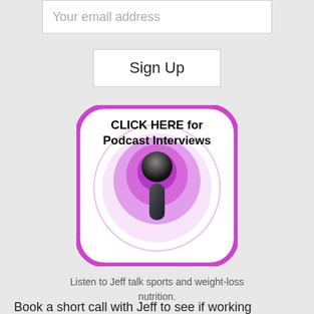Your email address
Sign Up
[Figure (logo): Podcast icon with purple rounded rectangle border, purple radio wave rings, dark microphone/person silhouette, and text 'CLICK HERE for Podcast Interviews']
Listen to Jeff talk sports and weight-loss nutrition.
Book a short call with Jeff to see if working together